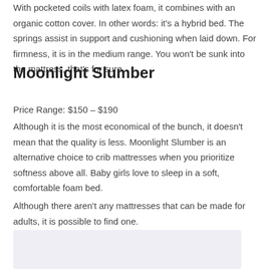With pocketed coils with latex foam, it combines with an organic cotton cover. In other words: it's a hybrid bed. The springs assist in support and cushioning when laid down. For firmness, it is in the medium range. You won't be sunk into the mattress, that's for sure.
Moonlight Slumber
Price Range: $150 – $190
Although it is the most economical of the bunch, it doesn't mean that the quality is less. Moonlight Slumber is an alternative choice to crib mattresses when you prioritize softness above all. Baby girls love to sleep in a soft, comfortable foam bed.
Although there aren't any mattresses that can be made for adults, it is possible to find one.
[Figure (photo): Photo of a baby or mattress, light purple/lavender toned background image]